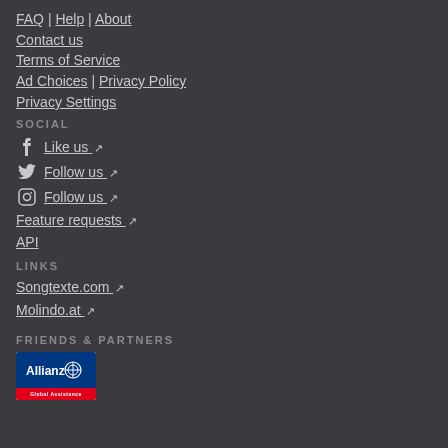FAQ | Help | About
Contact us
Terms of Service
Ad Choices | Privacy Policy
Privacy Settings
SOCIAL
Like us [external link]
Follow us [external link] (Twitter)
Follow us [external link] (Instagram)
Feature requests [external link]
API
LINKS
Songtexte.com [external link]
Molindo.at [external link]
FRIENDS & PARTNERS
[Figure (logo): Allianz Global Assistance logo — blue background with Allianz text and eagle symbol, red bar at bottom with 'Global Assistance' text]